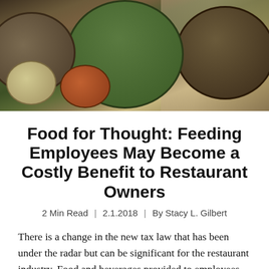[Figure (photo): Top-down photo of multiple bowls of food including salads, grains, and dips arranged on a wooden surface]
Food for Thought: Feeding Employees May Become a Costly Benefit to Restaurant Owners
2 Min Read  |  2.1.2018  |  By Stacy L. Gilbert
There is a change in the new tax law that has been under the radar but can be significant for the restaurant industry. Food and beverages provided to employees through an eating facility operated by employer that is located on or near the employers